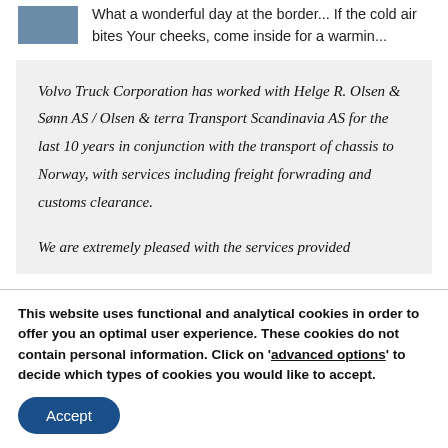What a wonderful day at the border... If the cold air bites Your cheeks, come inside for a warmin...
Volvo Truck Corporation has worked with Helge R. Olsen & Sønn AS / Olsen & terra Transport Scandinavia AS for the last 10 years in conjunction with the transport of chassis to Norway, with services including freight forwrading and customs clearance.

We are extremely pleased with the services provided
This website uses functional and analytical cookies in order to offer you an optimal user experience. These cookies do not contain personal information. Click on 'advanced options' to decide which types of cookies you would like to accept.